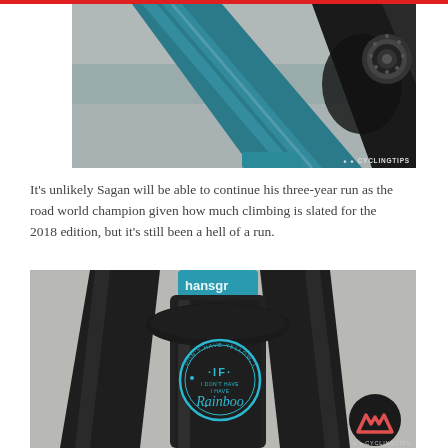[Figure (photo): Close-up of a bicycle frame joint showing a teal/blue metallic tube meeting a dark carbon frame, with a cassette visible in the background. CyclingTips watermark in bottom right.]
It's unlikely Sagan will be able to continue his three-year run as the road world champion given how much climbing is slated for the 2018 edition, but it's still been a hell of a run.
[Figure (photo): Close-up of a black Specialized bicycle fork with a teal/turquoise top tube section. A circular teal badge sticker reads 'IF I DON'T HAVE YELLOW, I HAVE Rainbows'. CyclingTips logo watermark in bottom right corner.]